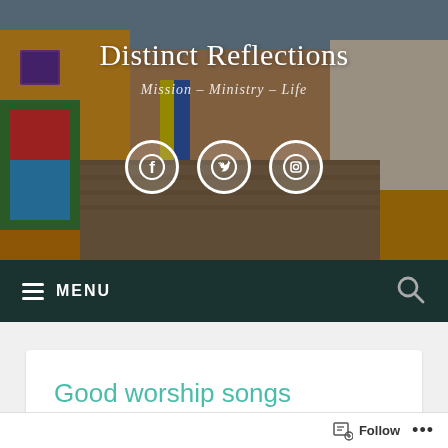[Figure (photo): Hero banner showing a colorful Latin American cobblestone street with yellow and orange buildings, murals, and a chicken in the foreground. Overlaid with site title and social media icons.]
Distinct Reflections
Mission – Ministry – Life
≡ MENU
Good worship songs
Follow  •••